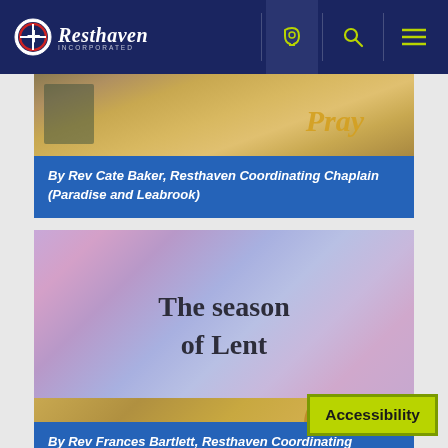[Figure (screenshot): Resthaven website navigation bar with logo, phone icon, search icon, and menu icon on dark navy background]
[Figure (photo): Partial image with golden/amber background showing the word 'Pray' in stylized text]
By Rev Cate Baker, Resthaven Coordinating Chaplain (Paradise and Leabrook)
[Figure (illustration): Pastel gradient sky background (purple, pink, blue) with bold serif text reading 'The season of Lent']
By Rev Frances Bartlett, Resthaven Coordinating Chaplain (Bellevue Heights)
[Figure (photo): Partial image showing golden grass/wheat field with a butterfly, warm golden-brown tones]
Accessibility